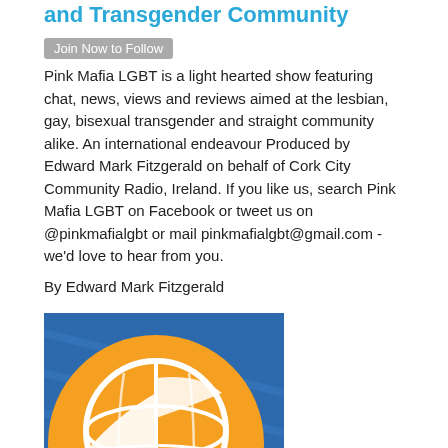and Transgender Community
Pink Mafia LGBT is a light hearted show featuring chat, news, views and reviews aimed at the lesbian, gay, bisexual transgender and straight community alike. An international endeavour Produced by Edward Mark Fitzgerald on behalf of Cork City Community Radio, Ireland. If you like us, search Pink Mafia LGBT on Facebook or tweet us on @pinkmafialgbt or mail pinkmafialgbt@gmail.com - we'd love to hear from you.
By Edward Mark Fitzgerald
[Figure (logo): Podcast logo with orange circle and white stylized globe/wing icon on blue background]
Distorted View Daily
A bizarre and twisted comedy podcast! Everyday Tim Henson scours the web for the most bizarre and twisted stuff the web. He then presents them to you, complete with his own unique (read: crass, vulgar, childish, and inappropriate) commentary. The show's content is not for the faint-hearted or those under 18.